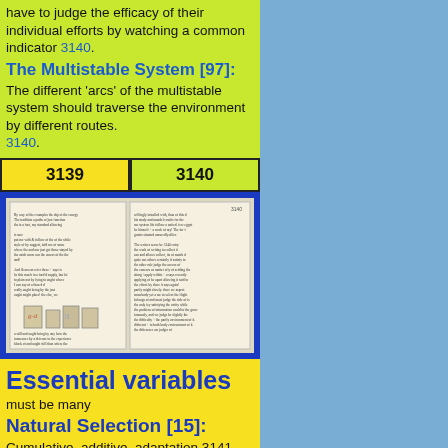have to judge the efficacy of their individual efforts by watching a common indicator 3140.
The Multistable System [97]:
The different 'arcs' of the multistable system should traverse the environment by different routes. 3140.
| 3139 | 3140 |
| --- | --- |
[Figure (photo): Open notebook/journal with handwritten text on both pages, with small sketch drawings at the bottom left page.]
Essential variables must be many
Natural Selection [15]:
Cumulative, additive, adaptation 3141.
Summary:
To get cumulative adaptation, the environment must be traversed by a variety of paths.